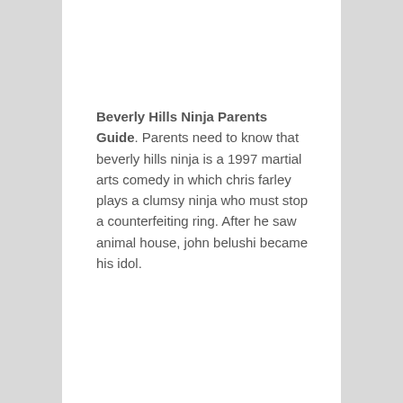Beverly Hills Ninja Parents Guide. Parents need to know that beverly hills ninja is a 1997 martial arts comedy in which chris farley plays a clumsy ninja who must stop a counterfeiting ring. After he saw animal house, john belushi became his idol.